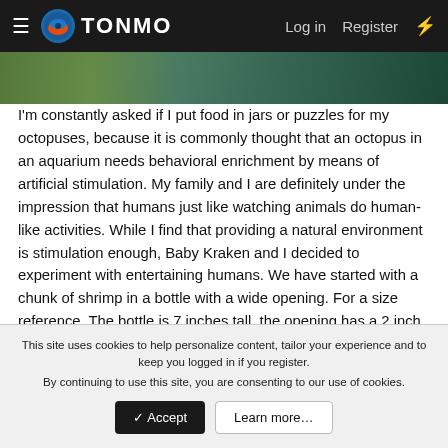TONMO — Log in   Register
[Figure (photo): Nature/outdoor photo strip at top of page]
I'm constantly asked if I put food in jars or puzzles for my octopuses, because it is commonly thought that an octopus in an aquarium needs behavioral enrichment by means of artificial stimulation. My family and I are definitely under the impression that humans just like watching animals do human-like activities. While I find that providing a natural environment is stimulation enough, Baby Kraken and I decided to experiment with entertaining humans. We have started with a chunk of shrimp in a bottle with a wide opening. For a size reference, The bottle is 7 inches tall, the opening has a 2 inch diameter. We've started a collection of unusually shaped bottles for future fun, with the plan of working our way towards narrower openings.
This site uses cookies to help personalize content, tailor your experience and to keep you logged in if you register.
By continuing to use this site, you are consenting to our use of cookies.